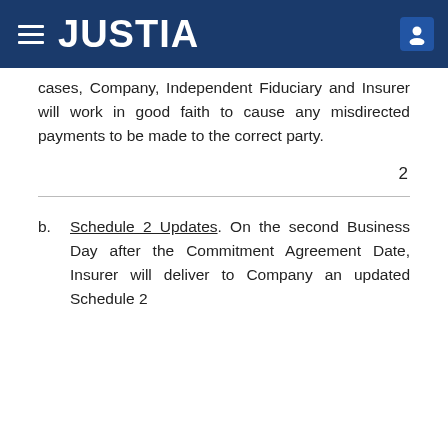JUSTIA
cases, Company, Independent Fiduciary and Insurer will work in good faith to cause any misdirected payments to be made to the correct party.
2
b. Schedule 2 Updates. On the second Business Day after the Commitment Agreement Date, Insurer will deliver to Company an updated Schedule 2